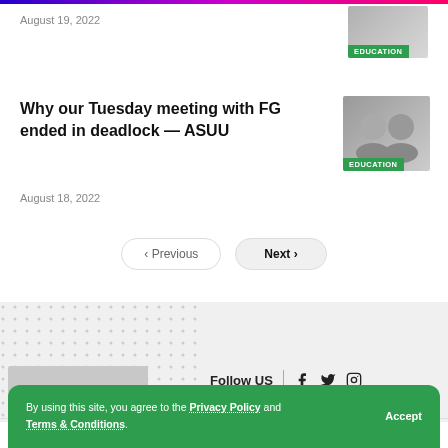August 19, 2022
[Figure (photo): EDUCATION badge thumbnail top right]
Why our Tuesday meeting with FG ended in deadlock — ASUU
[Figure (photo): Two people photo with EDUCATION badge]
August 18, 2022
< Previous   Next >
[Figure (logo): Footer logo placeholder with dot pattern background]
Follow US
About Okay.ng • Advertising on Okay.ng • Contact Okay.ng
By using this site, you agree to the Privacy Policy and Terms & Conditions.